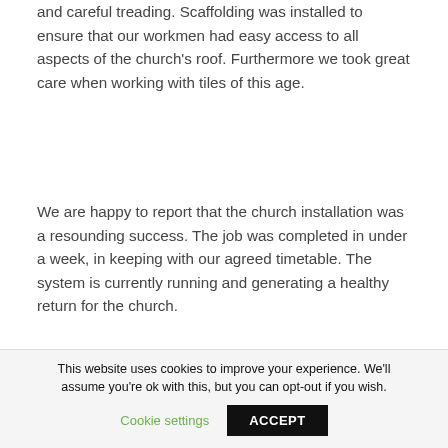and careful treading. Scaffolding was installed to ensure that our workmen had easy access to all aspects of the church's roof. Furthermore we took great care when working with tiles of this age.
We are happy to report that the church installation was a resounding success. The job was completed in under a week, in keeping with our agreed timetable. The system is currently running and generating a healthy return for the church.
[Figure (photo): Photo of solar panels installed on a church roof, taken from below looking up at an angle, showing the roof slope with solar panels against a cloudy sky.]
This website uses cookies to improve your experience. We'll assume you're ok with this, but you can opt-out if you wish.